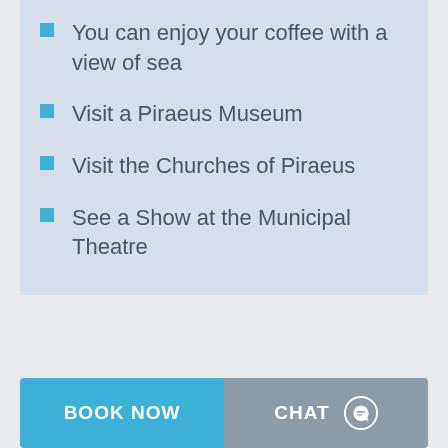You can enjoy your coffee with a view of sea
Visit a Piraeus Museum
Visit the Churches of Piraeus
See a Show at the Municipal Theatre
BOOK NOW
CHAT